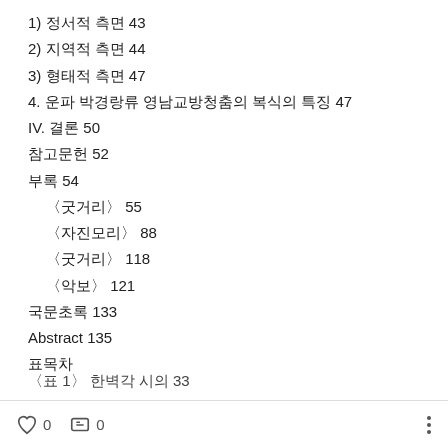1) 정서적 측면 43
2) 지역적 측면 44
3) 형태적 측면 47
4. 운파 박경랑류 영남교방청춤의 복식의 특징 47
IV. 결론 50
참고문헌 52
부록 54
〈굿거리〉 55
〈자진모리〉 88
〈굿거리〉 118
〈악보〉 121
국문초록 133
Abstract 135
표목차
〈표 1〉 한벽각 시의 33